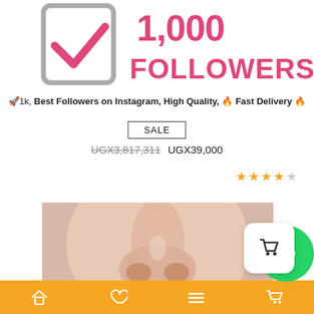[Figure (illustration): Checkbox icon with pink checkmark and text '1,000 FOLLOWERS' in bold pink/magenta letters]
🚀1k, Best Followers on Instagram, High Quality, 🔥 Fast Delivery 🔥
SALE
UGX3,817,311 UGX39,000
Add To Bag
★★★★★
[Figure (photo): Close-up photo of a person's nose and lower face with skin texture visible]
[Figure (illustration): Shopping bag cart icon in white box with rounded corners]
[Figure (illustration): WhatsApp green circle icon]
Home | Wishlist | Menu | Cart navigation bar with orange background